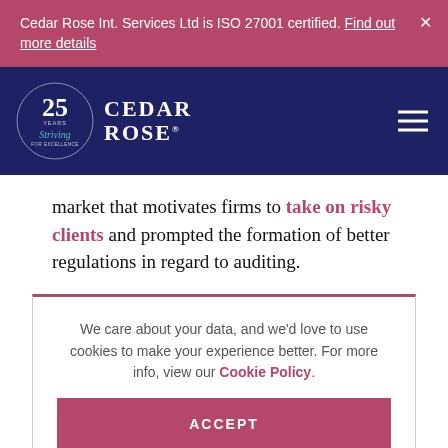Cedar Rose Int. Services Ltd is ISO 27001 certified. Find out more details
[Figure (logo): Cedar Rose 25 Years Striving for Excellence logo with navigation bar on dark blue background]
market that motivates firms to take on risky clients and prompted the formation of better regulations in regard to auditing.
We care about your data, and we'd love to use cookies to make your experience better. For more info, view our Cookie Policy.
ACCEPT
with its auditing clients."